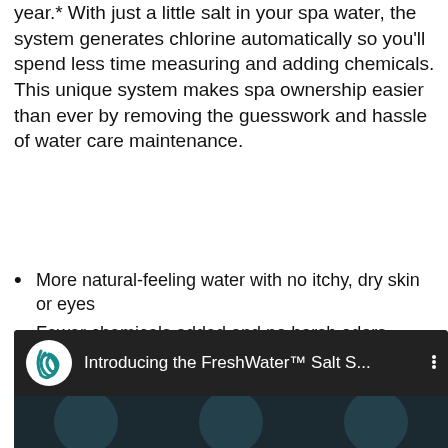year.* With just a little salt in your spa water, the system generates chlorine automatically so you'll spend less time measuring and adding chemicals. This unique system makes spa ownership easier than ever by removing the guesswork and hassle of water care maintenance.
More natural-feeling water with no itchy, dry skin or eyes
Fewer chemicals added and no harsh odors
Simple water care means more time enjoying your spa
Conserve water by reducing spa drain and refills to once a year*
[Figure (screenshot): YouTube video thumbnail showing 'Introducing the FreshWater™ Salt S...' with a FreshWater logo (teal swirl on white circle) against a dark background, with three vertical dots menu icon. The preview shows dark blurred circular shapes.]